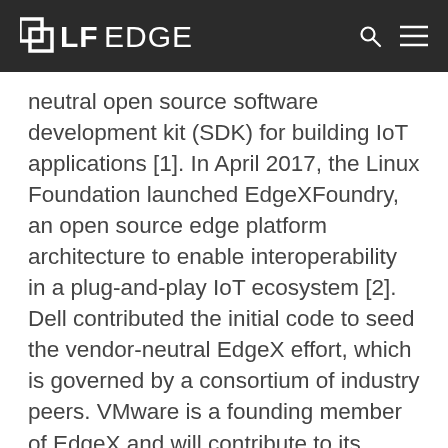LF EDGE
neutral open source software development kit (SDK) for building IoT applications [1]. In April 2017, the Linux Foundation launched EdgeXFoundry, an open source edge platform architecture to enable interoperability in a plug-and-play IoT ecosystem [2]. Dell contributed the initial code to seed the vendor-neutral EdgeX effort, which is governed by a consortium of industry peers. VMware is a founding member of EdgeX and will contribute to its success, while maintaining a neutral stance in relation to IoT